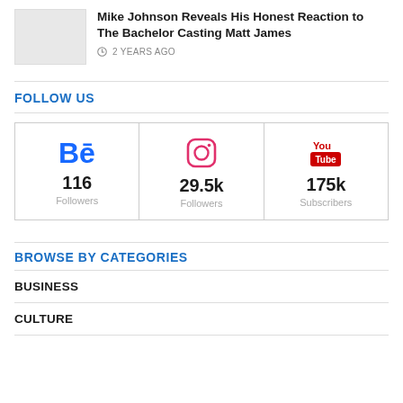[Figure (photo): Small gray thumbnail image placeholder]
Mike Johnson Reveals His Honest Reaction to The Bachelor Casting Matt James
2 YEARS AGO
FOLLOW US
[Figure (infographic): Social media follow counts: Behance 116 Followers, Instagram 29.5k Followers, YouTube 175k Subscribers]
BROWSE BY CATEGORIES
BUSINESS
CULTURE